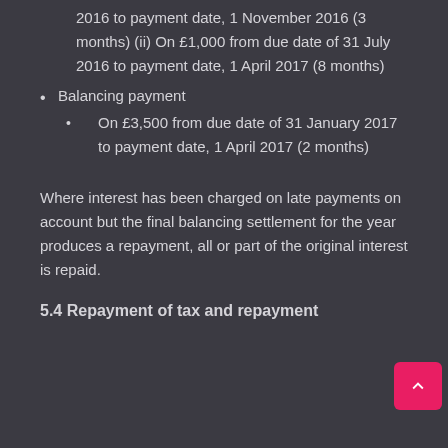2016 to payment date, 1 November 2016 (3 months) (ii) On £1,000 from due date of 31 July 2016 to payment date, 1 April 2017 (8 months)
Balancing payment
On £3,500 from due date of 31 January 2017 to payment date, 1 April 2017 (2 months)
Where interest has been charged on late payments on account but the final balancing settlement for the year produces a repayment, all or part of the original interest is repaid.
5.4 Repayment of tax and repayment